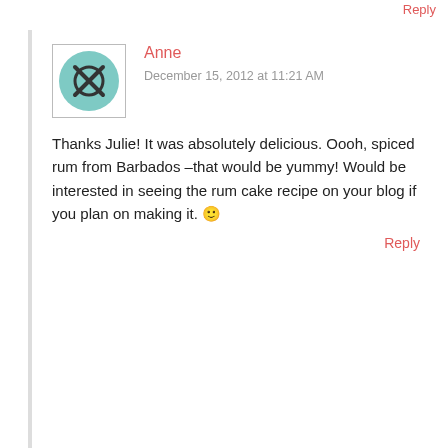Reply
Anne
December 15, 2012 at 11:21 AM
Thanks Julie! It was absolutely delicious. Oooh, spiced rum from Barbados –that would be yummy! Would be interested in seeing the rum cake recipe on your blog if you plan on making it. 🙂
Reply
Advertisements
[Figure (illustration): VIP advertisement banner with orange gradient and Learn more button]
Advertisements
[Figure (illustration): Seamless food delivery advertisement with pizza image and ORDER NOW button]